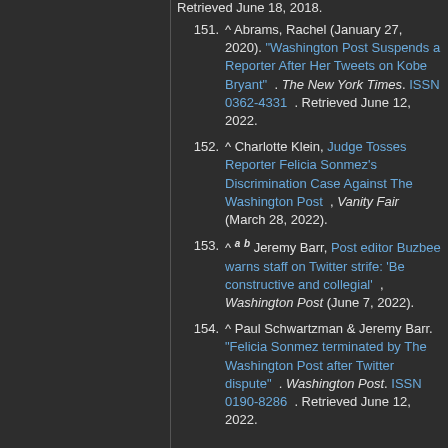Retrieved June 18, 2018.
151. ^ Abrams, Rachel (January 27, 2020). "Washington Post Suspends a Reporter After Her Tweets on Kobe Bryant". The New York Times. ISSN 0362-4331. Retrieved June 12, 2022.
152. ^ Charlotte Klein, Judge Tosses Reporter Felicia Sonmez's Discrimination Case Against The Washington Post, Vanity Fair (March 28, 2022).
153. ^ a b Jeremy Barr, Post editor Buzbee warns staff on Twitter strife: 'Be constructive and collegial', Washington Post (June 7, 2022).
154. ^ Paul Schwartzman & Jeremy Barr. "Felicia Sonmez terminated by The Washington Post after Twitter dispute". Washington Post. ISSN 0190-8286. Retrieved June 12, 2022.